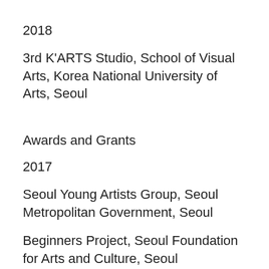2018
3rd K'ARTS Studio, School of Visual Arts, Korea National University of Arts, Seoul
Awards and Grants
2017
Seoul Young Artists Group, Seoul Metropolitan Government, Seoul
Beginners Project, Seoul Foundation for Arts and Culture, Seoul